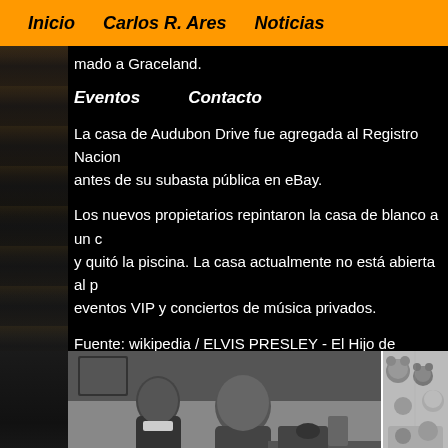Inicio  Carlos R. Ares  Noticias
mado a Graceland.
Eventos    Contacto
La casa de Audubon Drive fue agregada al Registro Nacional antes de su subasta pública en eBay.
Los nuevos propietarios repintaron la casa de blanco a un color y quitó la piscina. La casa actualmente no está abierta al público, eventos VIP y conciertos de música privados.
Fuente: wikipedia / ELVIS PRESLEY - El Hijo de América
Traducción (humana) y Adaptación:
CARLOS R. ARES & CLAUDIA LEÓN
[Figure (photo): Black and white photograph of two people, possibly Elvis Presley and a woman, sitting together indoors with furniture and items in the background. A second partial image of stuffed animals/toys appears on the right edge.]